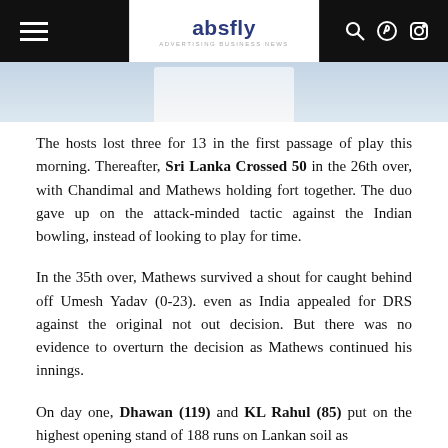absfly
[Figure (photo): Partial photo of a cricket player in white clothing, cropped at the top of the content area.]
The hosts lost three for 13 in the first passage of play this morning. Thereafter, Sri Lanka Crossed 50 in the 26th over, with Chandimal and Mathews holding fort together. The duo gave up on the attack-minded tactic against the Indian bowling, instead of looking to play for time.
In the 35th over, Mathews survived a shout for caught behind off Umesh Yadav (0-23). even as India appealed for DRS against the original not out decision. But there was no evidence to overturn the decision as Mathews continued his innings.
On day one, Dhawan (119) and KL Rahul (85) put on the highest opening stand of 188 runs on Lankan soil as